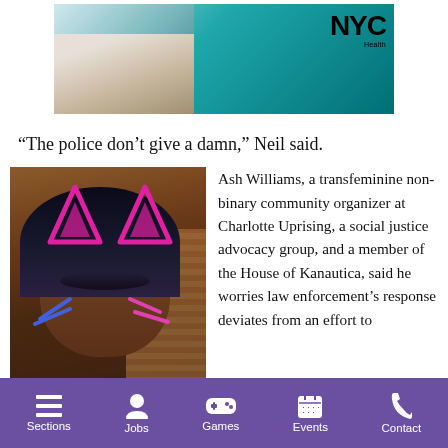[Figure (photo): NYC Health advertisement banner with teal gradient background and NYC Health logo]
“The police don’t give a damn,” Neil said.
[Figure (photo): Photo of Ash Williams, a transfeminine non-binary community organizer, with pink cat ear filter and blue whisker marks on face]
Ash Williams, a transfeminine non-binary community organizer at Charlotte Uprising, a social justice advocacy group, and a member of the House of Kanautica, said he worries law enforcement’s response deviates from an effort to
Sections  Jobs  Games  Events  Contact